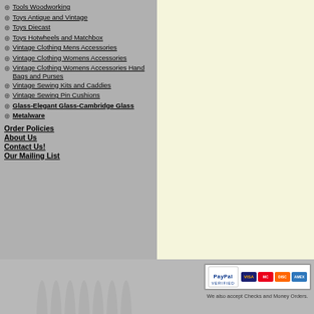⊕ Tools Woodworking
⊕ Toys Antique and Vintage
⊕ Toys Diecast
⊕ Toys Hotwheels and Matchbox
⊕ Vintage Clothing Mens Accessories
⊕ Vintage Clothing Womens Accessories
⊕ Vintage Clothing Womens Accessories Hand Bags and Purses
⊕ Vintage Sewing Kits and Caddies
⊕ Vintage Sewing Pin Cushions
⊕ Glass-Elegant Glass-Cambridge Glass
⊕ Metalware
Order Policies
About Us
Contact Us!
Our Mailing List
[Figure (logo): PayPal Verified badge with Visa, Mastercard, Discover, and Amex card icons]
We also accept Checks and Money Orders.